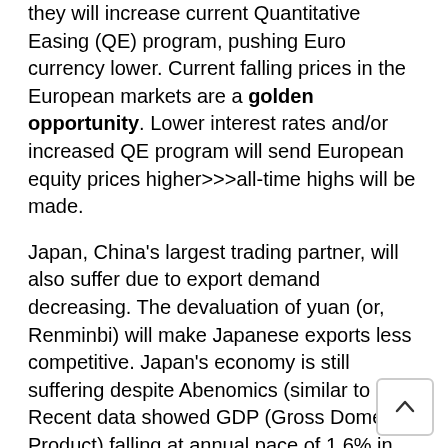they will increase current Quantitative Easing (QE) program, pushing Euro currency lower. Current falling prices in the European markets are a golden opportunity. Lower interest rates and/or increased QE program will send European equity prices higher>>>all-time highs will be made.
Japan, China's largest trading partner, will also suffer due to export demand decreasing. The devaluation of yuan (or, Renminbi) will make Japanese exports less competitive. Japan's economy is still suffering despite Abenomics (similar to QE). Recent data showed GDP (Gross Domestic Product) falling at annual pace of 1.6% in 2nd quarter, due to slowing exports and lack of consumer spending. Abenomics has failed. Additional monetary easing coming? If